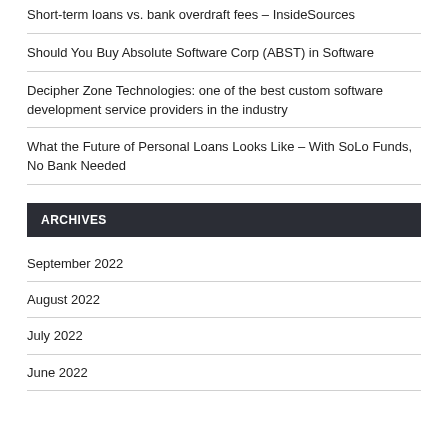Short-term loans vs. bank overdraft fees – InsideSources
Should You Buy Absolute Software Corp (ABST) in Software
Decipher Zone Technologies: one of the best custom software development service providers in the industry
What the Future of Personal Loans Looks Like – With SoLo Funds, No Bank Needed
ARCHIVES
September 2022
August 2022
July 2022
June 2022